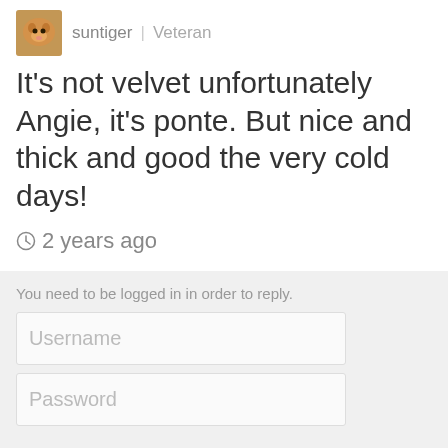suntiger | Veteran
It's not velvet unfortunately Angie, it's ponte. But nice and thick and good the very cold days!
2 years ago
You need to be logged in in order to reply.
Username
Password